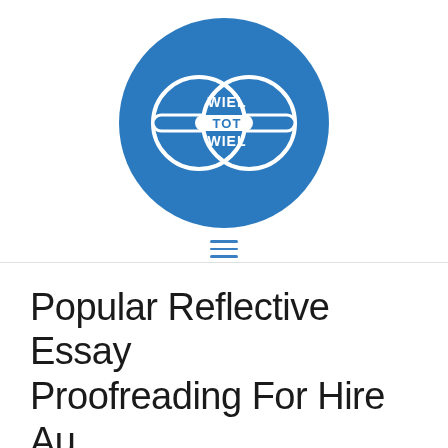[Figure (logo): Circular blue logo with two interlocking chain-link ovals and a horizontal bar connecting them, with white text reading WIEL TOT WIEL]
[Figure (other): Hamburger menu icon — three horizontal blue lines]
Popular Reflective Essay Proofreading For Hire Au
Laat een reactie achter / Geen categorie